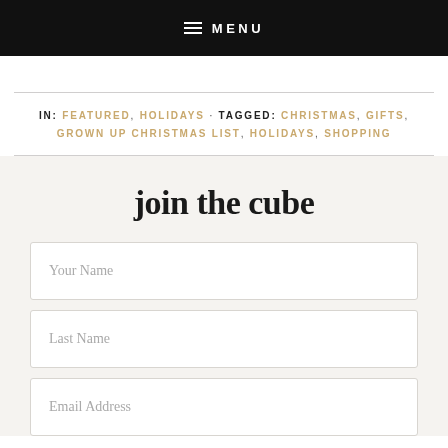MENU
IN: FEATURED, HOLIDAYS · TAGGED: CHRISTMAS, GIFTS, GROWN UP CHRISTMAS LIST, HOLIDAYS, SHOPPING
join the cube
Your Name
Last Name
Email Address